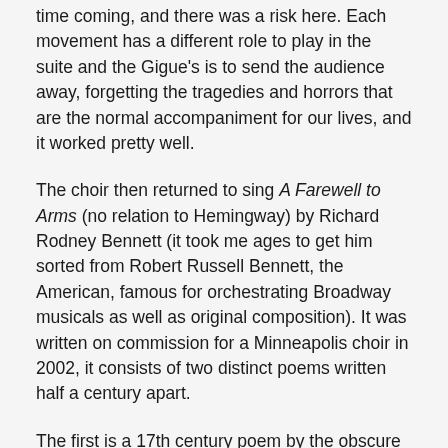time coming, and there was a risk here. Each movement has a different role to play in the suite and the Gigue's is to send the audience away, forgetting the tragedies and horrors that are the normal accompaniment for our lives, and it worked pretty well.
The choir then returned to sing A Farewell to Arms (no relation to Hemingway) by Richard Rodney Bennett (it took me ages to get him sorted from Robert Russell Bennett, the American, famous for orchestrating Broadway musicals as well as original composition). It was written on commission for a Minneapolis choir in 2002, it consists of two distinct poems written half a century apart.
The first is a 17th century poem by the obscure Ralph Knevet (roughly contemporary with the many post-Tudor poets like Herrick, Herbert, Carew, Marvell, Waller, Suckling ... and Milton.... ). His poem began: 'The helmet now an hive for bees becomes...'. It's followed with a hardly audible break by a poem by the slightly less obscure Shakespeare contemporary, George